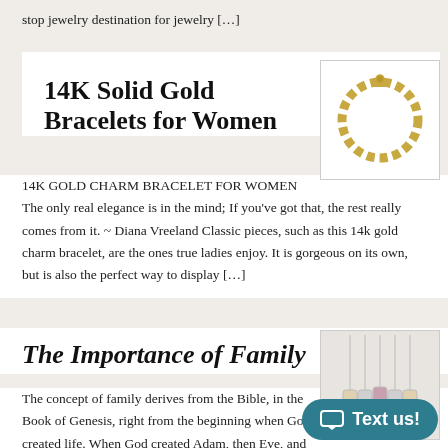stop jewelry destination for jewelry […]
14K Solid Gold Bracelets for Women
[Figure (photo): A gold chain bracelet on a white background]
14K GOLD CHARM BRACELET FOR WOMEN
The only real elegance is in the mind; If you've got that, the rest really comes from it. ~ Diana Vreeland Classic pieces, such as this 14k gold charm bracelet, are the ones true ladies enjoy. It is gorgeous on its own, but is also the perfect way to display […]
The Importance of Family
[Figure (photo): Multiple pendant necklaces with names or text, hanging on chains]
The concept of family derives from the Bible, in the Book of Genesis, right from the beginning when God created life. When God created Adam, then Eve, and they became as one flesh